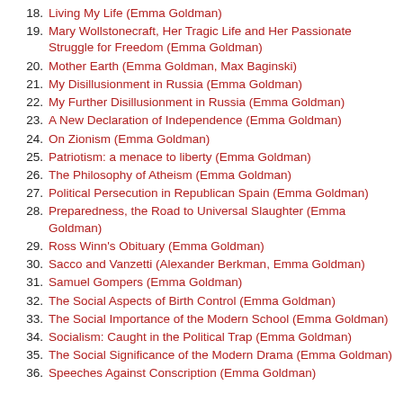18. Living My Life (Emma Goldman)
19. Mary Wollstonecraft, Her Tragic Life and Her Passionate Struggle for Freedom (Emma Goldman)
20. Mother Earth (Emma Goldman, Max Baginski)
21. My Disillusionment in Russia (Emma Goldman)
22. My Further Disillusionment in Russia (Emma Goldman)
23. A New Declaration of Independence (Emma Goldman)
24. On Zionism (Emma Goldman)
25. Patriotism: a menace to liberty (Emma Goldman)
26. The Philosophy of Atheism (Emma Goldman)
27. Political Persecution in Republican Spain (Emma Goldman)
28. Preparedness, the Road to Universal Slaughter (Emma Goldman)
29. Ross Winn's Obituary (Emma Goldman)
30. Sacco and Vanzetti (Alexander Berkman, Emma Goldman)
31. Samuel Gompers (Emma Goldman)
32. The Social Aspects of Birth Control (Emma Goldman)
33. The Social Importance of the Modern School (Emma Goldman)
34. Socialism: Caught in the Political Trap (Emma Goldman)
35. The Social Significance of the Modern Drama (Emma Goldman)
36. Speeches Against Conscription (Emma Goldman)